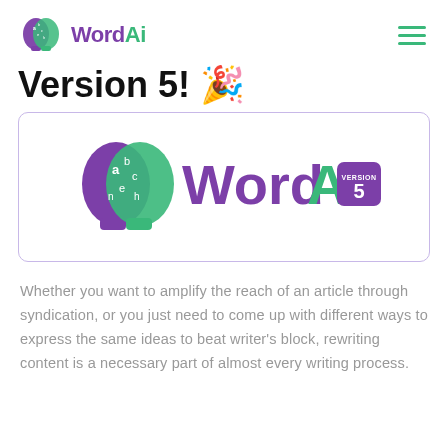WordAi
Version 5!
[Figure (logo): WordAi Version 5 logo — purple and green brain/head icon with 'WordAi' in purple/green text and a purple badge reading 'VERSION 5']
Whether you want to amplify the reach of an article through syndication, or you just need to come up with different ways to express the same ideas to beat writer's block, rewriting content is a necessary part of almost every writing process.